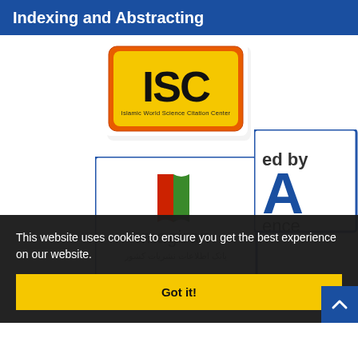Indexing and Abstracting
[Figure (logo): ISC (Islamic World Science Citation Center) logo — yellow background with red rounded rectangle border, bold black ISC text, small subtitle text]
[Figure (logo): Magiran logo — blue border rectangle, red and green book icon, 'magiran' text in gray, Persian subtitle text below]
[Figure (logo): Partially visible third indexing logo with 'ed by', large blue letter A, and 'ence' text]
This website uses cookies to ensure you get the best experience on our website.
Got it!